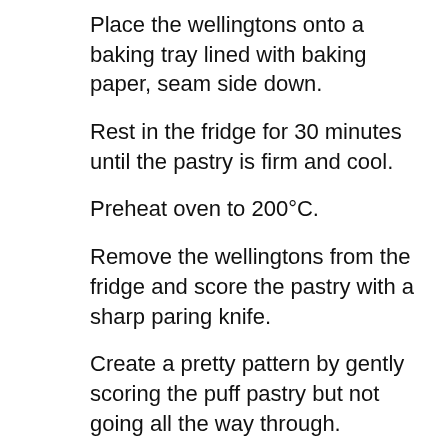Place the wellingtons onto a baking tray lined with baking paper, seam side down.
Rest in the fridge for 30 minutes until the pastry is firm and cool.
Preheat oven to 200°C.
Remove the wellingtons from the fridge and score the pastry with a sharp paring knife.
Create a pretty pattern by gently scoring the puff pastry but not going all the way through.
Brush all over with the egg wash.
Bake in the oven for 45-55 minutes until deeply golden brown and the pastry is cooked through.